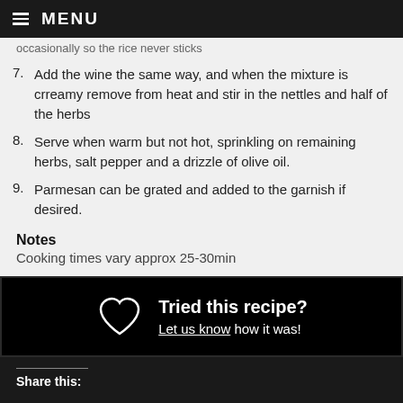MENU
occasionally so the rice never sticks
7. Add the wine the same way, and when the mixture is crreamy remove from heat and stir in the nettles and half of the herbs
8. Serve when warm but not hot, sprinkling on remaining herbs, salt pepper and a drizzle of olive oil.
9. Parmesan can be grated and added to the garnish if desired.
Notes
Cooking times vary approx 25-30min
Tried this recipe? Let us know how it was!
Share this: